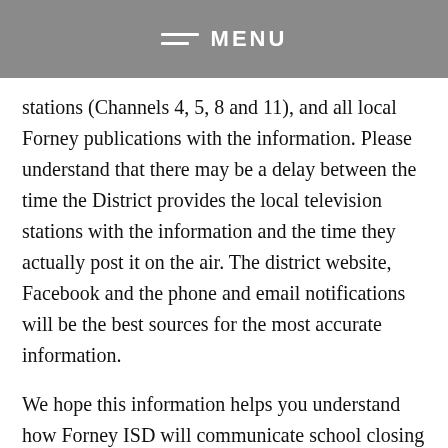MENU
stations (Channels 4, 5, 8 and 11), and all local Forney publications with the information. Please understand that there may be a delay between the time the District provides the local television stations with the information and the time they actually post it on the air. The district website, Facebook and the phone and email notifications will be the best sources for the most accurate information.
We hope this information helps you understand how Forney ISD will communicate school closing or delays due to inclement weather.